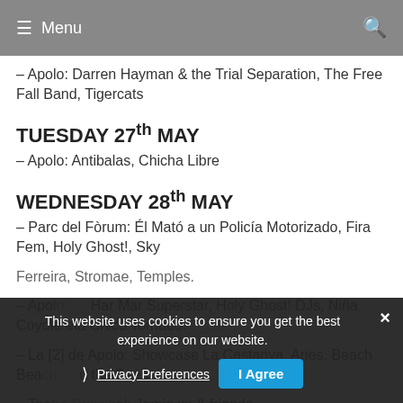≡ Menu
– Apolo: Darren Hayman & the Trial Separation, The Free Fall Band, Tigercats
TUESDAY 27th MAY
– Apolo: Antibalas, Chicha Libre
WEDNESDAY 28th MAY
– Parc del Fòrum: Él Mató a un Policía Motorizado, Fira Fem, Holy Ghost!, Sky Ferreira, Stromae, Temples.
– Apolo: ... Har Mar Superstar, Holy Ghost! DJs, Niña Coyote eta Chico Tornado.
– La [2] de Apolo: Showcase La Castanya. Aries, Beach Beach, ... and the Bees
– Teatre Principal: Jamie xx & friends
This website uses cookies to ensure you get the best experience on our website.
Privacy Preferences
I Agree